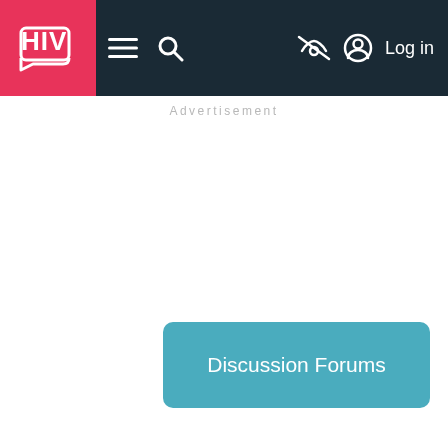HIV — Discussion Forums
Advertisement
Discussion Forums